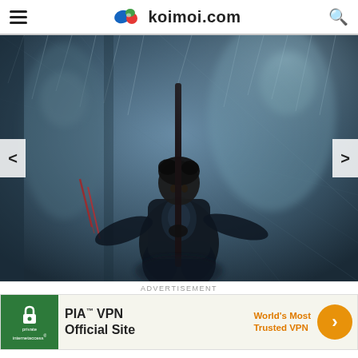koimoi.com
[Figure (photo): A dark, dramatic promotional movie still in blue-gray tones showing a muscular man with curly hair, grimacing and holding a long staff/pole, crouched in a fighting stance. Background shows blurred shadowy figures and streaks of rain or light. There are red marks/slashes on a wall to the left. Navigation arrows (< and >) are overlaid on the sides of the image.]
ADVERTISEMENT
[Figure (infographic): PIA VPN advertisement banner. Left side has green background with shield/lock logo icon and text 'private internetaccess'. Middle text: 'PIA™ VPN Official Site'. Right side shows orange text 'World's Most Trusted VPN' and an orange circular arrow button.]